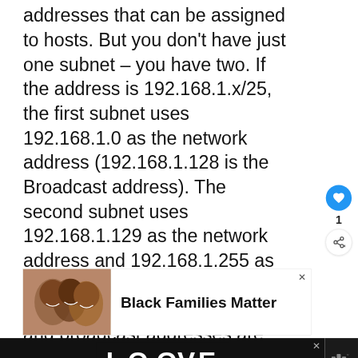addresses that can be assigned to hosts. But you don't have just one subnet – you have two. If the address is 192.168.1.x/25, the first subnet uses 192.168.1.0 as the network address (192.168.1.128 is the Broadcast address). The second subnet uses 192.168.1.129 as the network address and 192.168.1.255 as the broadcast address. All the addresses between the network and broadcast addresses are host addresses.
[Figure (other): Like/heart button (blue circle with heart icon) and share button below it, with count '1' between them]
[Figure (photo): Advertisement banner showing smiling people (Black Families Matter)]
[Figure (other): Bottom advertisement banner with LOOVE logo on dark background]